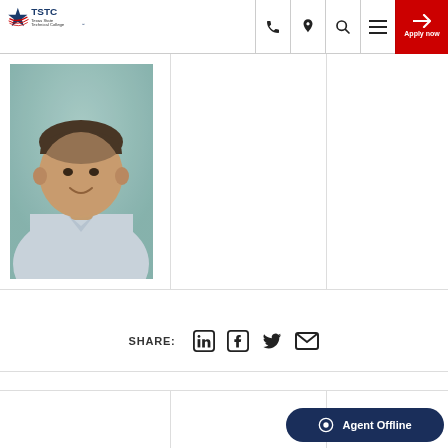Texas State Technical College - TSTC navigation bar with logo, phone, location, search, menu, and Apply now button
[Figure (photo): Headshot of a young man in a light blue collared shirt against a teal/green background]
SHARE:
Agent Offline